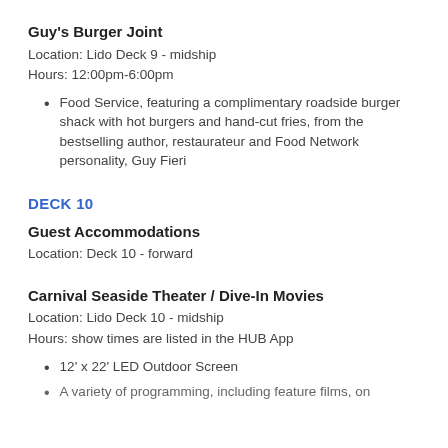Guy's Burger Joint
Location: Lido Deck 9 - midship
Hours: 12:00pm-6:00pm
Food Service, featuring a complimentary roadside burger shack with hot burgers and hand-cut fries, from the bestselling author, restaurateur and Food Network personality, Guy Fieri
DECK 10
Guest Accommodations
Location: Deck 10 - forward
Carnival Seaside Theater / Dive-In Movies
Location: Lido Deck 10 - midship
Hours: show times are listed in the HUB App
12' x 22' LED Outdoor Screen
A variety of programming, including feature films, on outings...